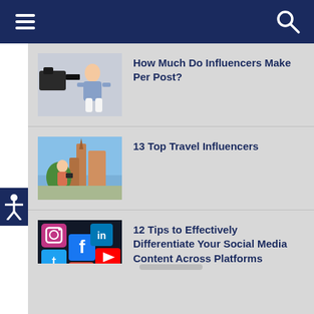Navigation header with hamburger menu and search icon
How Much Do Influencers Make Per Post?
13 Top Travel Influencers
12 Tips to Effectively Differentiate Your Social Media Content Across Platforms